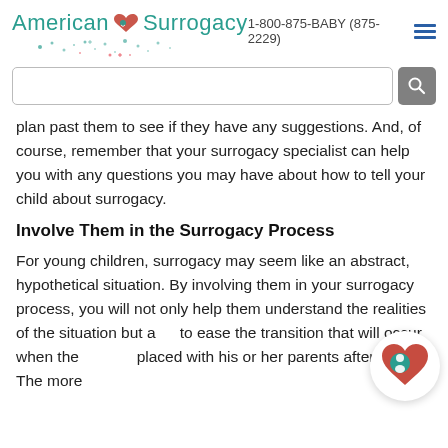American Surrogacy  1-800-875-BABY (875-2229)
plan past them to see if they have any suggestions. And, of course, remember that your surrogacy specialist can help you with any questions you may have about how to tell your child about surrogacy.
Involve Them in the Surrogacy Process
For young children, surrogacy may seem like an abstract, hypothetical situation. By involving them in your surrogacy process, you will not only help them understand the realities of the situation but also to ease the transition that will occur when the baby is placed with his or her parents after birth. The more